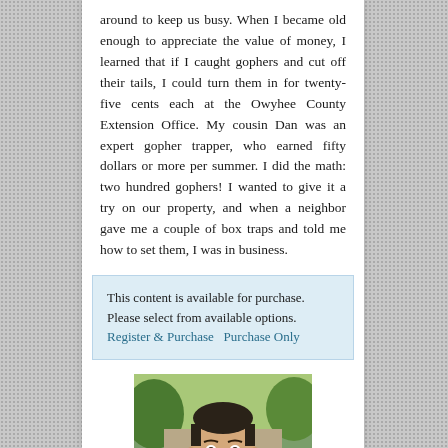around to keep us busy. When I became old enough to appreciate the value of money, I learned that if I caught gophers and cut off their tails, I could turn them in for twenty-five cents each at the Owyhee County Extension Office. My cousin Dan was an expert gopher trapper, who earned fifty dollars or more per summer. I did the math: two hundred gophers! I wanted to give it a try on our property, and when a neighbor gave me a couple of box traps and told me how to set them, I was in business.
This content is available for purchase. Please select from available options. Register & Purchase  Purchase Only
[Figure (photo): Headshot photo of a middle-aged man with dark hair, against an outdoor background with trees.]